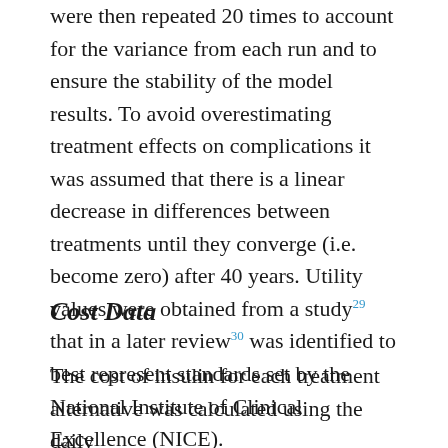were then repeated 20 times to account for the variance from each run and to ensure the stability of the model results. To avoid overestimating treatment effects on complications it was assumed that there is a linear decrease in differences between treatments until they converge (i.e. become zero) after 40 years. Utility values were obtained from a study29 that in a later review30 was identified to best represent standards set by the National Institute of Clinical Excellence (NICE).
Cost Data
The cost of insulin for each treatment alternative was calculated using the daily